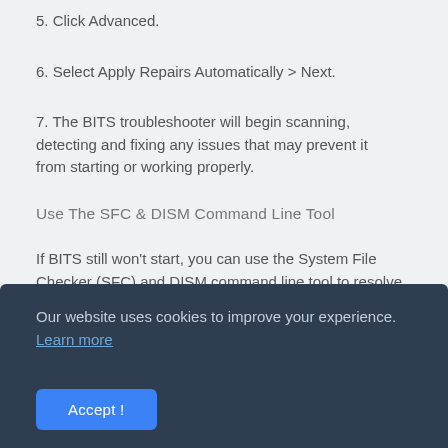5. Click Advanced.
6. Select Apply Repairs Automatically > Next.
7. The BITS troubleshooter will begin scanning, detecting and fixing any issues that may prevent it from starting or working properly.
Use The SFC & DISM Command Line Tool
If BITS still won't start, you can use the System File Checker (SFC) and DISM command line tool to resolve the issue.
Our website uses cookies to improve your experience. Learn more

Accept !
Image /RestoreHealth. This will scan and repair any